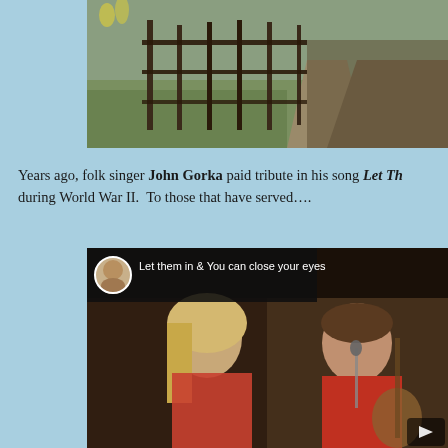[Figure (photo): Outdoor photo showing a metal fence/gate with grass and a dirt path, partially cropped at top of page]
Years ago, folk singer John Gorka paid tribute in his song Let Th... during World War II.  To those that have served....
[Figure (screenshot): Video thumbnail showing two musicians performing - a woman with blonde hair and a man in a red shirt playing guitar. Overlay bar shows a circular avatar and text: 'Let them in & You can close your eyes']